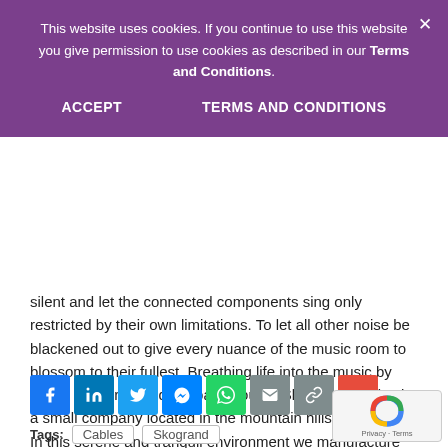This website uses cookies. If you continue to use this website you give permission to use cookies as described in our Terms and Conditions.
ACCEPT   TERMS AND CONDITIONS
silent and let the connected components sing only restricted by their own limitations. To let all other noise be blackened out to give every nuance of the music room to blossom to their fullest. Breathing life into the music by giving it a perfectly quiet background. Skogrand Cables is a small company located in the mountain hills of Norway. In this serene and tranquil environment we manufacture audio cables with the support of several key branches of the Norwegian government due to our product’s market leading signal transferring capabilities.
Tags: Cables  Skogrand